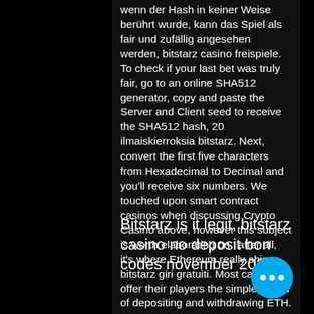wenn der Hash in keiner Weise berührt wurde, kann das Spiel als fair und zufällig angesehen werden, bitstarz casino freispiele. To check if your last bet was truly fair, go to an online SHA512 generator, copy and paste the Server and Client seed to receive the SHA512 hash, 20 ilmaiskierroksia bitstarz. Next, convert the first five characters from Hexadecimal to Decimal and you'll receive six numbers. We touched upon smart contract casinos when discussing Crypto Casino above, however this subject is worth elaborating on ' after all, it's where Ethereum really shines, bitstarz giri gratuiti. Most casinos offer their players the simple option of depositing and withdrawing ETH.
Bitstarz is it legit, bitstarz casino no deposit bonus codes november 2020